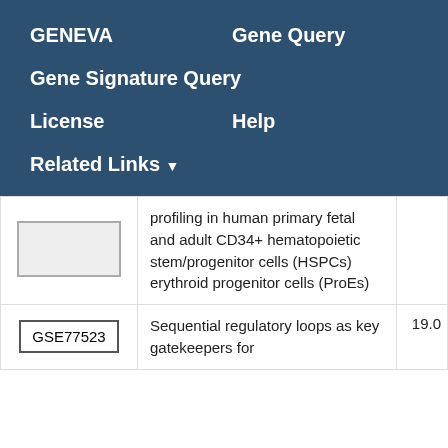GENEVA   Gene Query   Gene Signature Query   License   Help   Related Links
| ID | Description | Score |
| --- | --- | --- |
| [image] | profiling in human primary fetal and adult CD34+ hematopoietic stem/progenitor cells (HSPCs) erythroid progenitor cells (ProEs) |  |
| GSE77523 | Sequential regulatory loops as key gatekeepers for | 19.0 |